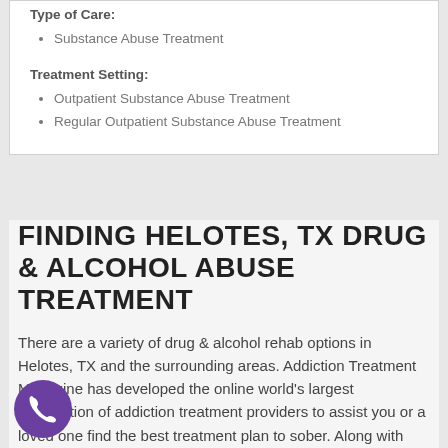Type of Care:
Substance Abuse Treatment
Treatment Setting:
Outpatient Substance Abuse Treatment
Regular Outpatient Substance Abuse Treatment
FINDING HELOTES, TX DRUG & ALCOHOL ABUSE TREATMENT
There are a variety of drug & alcohol rehab options in Helotes, TX and the surrounding areas. Addiction Treatment Magazine has developed the online world's largest compliation of addiction treatment providers to assist you or a loved one find the best treatment plan to sober. Along with drug and alcohol rehabilitation centers, provides all of the Helotes Alcoholics Anonymous meetings for the obtaining for your situations and...